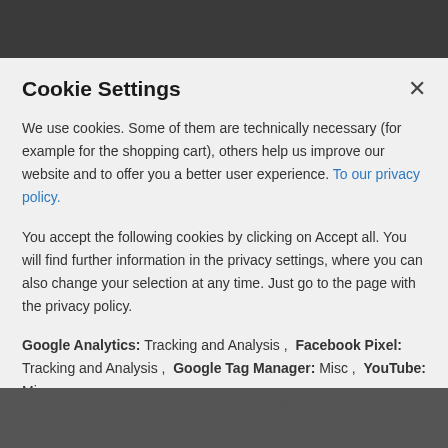Cookie Settings
We use cookies. Some of them are technically necessary (for example for the shopping cart), others help us improve our website and to offer you a better user experience. To our privacy policy.
You accept the following cookies by clicking on Accept all. You will find further information in the privacy settings, where you can also change your selection at any time. Just go to the page with the privacy policy.
Google Analytics: Tracking and Analysis ,  Facebook Pixel: Tracking and Analysis ,  Google Tag Manager: Misc ,  YouTube: Misc
ACCEPT ALL
individual settings